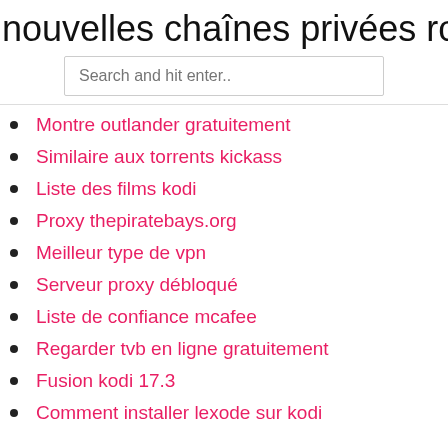nouvelles chaînes privées roku 2020
Montre outlander gratuitement
Similaire aux torrents kickass
Liste des films kodi
Proxy thepiratebays.org
Meilleur type de vpn
Serveur proxy débloqué
Liste de confiance mcafee
Regarder tvb en ligne gratuitement
Fusion kodi 17.3
Comment installer lexode sur kodi